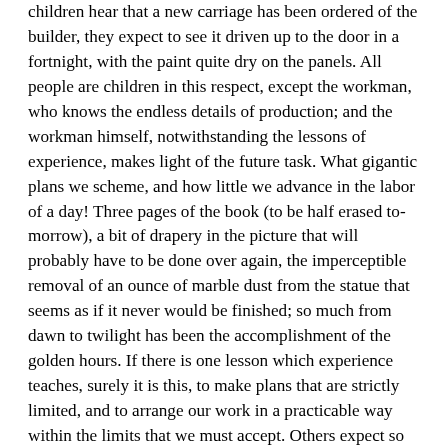children hear that a new carriage has been ordered of the builder, they expect to see it driven up to the door in a fortnight, with the paint quite dry on the panels. All people are children in this respect, except the workman, who knows the endless details of production; and the workman himself, notwithstanding the lessons of experience, makes light of the future task. What gigantic plans we scheme, and how little we advance in the labor of a day! Three pages of the book (to be half erased to-morrow), a bit of drapery in the picture that will probably have to be done over again, the imperceptible removal of an ounce of marble dust from the statue that seems as if it never would be finished; so much from dawn to twilight has been the accomplishment of the golden hours. If there is one lesson which experience teaches, surely it is this, to make plans that are strictly limited, and to arrange our work in a practicable way within the limits that we must accept. Others expect so much from us that it seems as if we had accomplished nothing. " What! have you done only that?" they say, or we know by their looks that they are thinking it.
The most illusory of all the work that we propose to ourselves is reading. It seems so easy to read, that we intend, in the indefinite future, to master the vastest literatures. We cannot bring ourselves to admit that the library we have collected is in great part closed to us simply by want of time. A dear friend of mine, who was a solicitor with a large practice, indulged in wonderful illusions about reading, and collected several thousand volumes, all fine